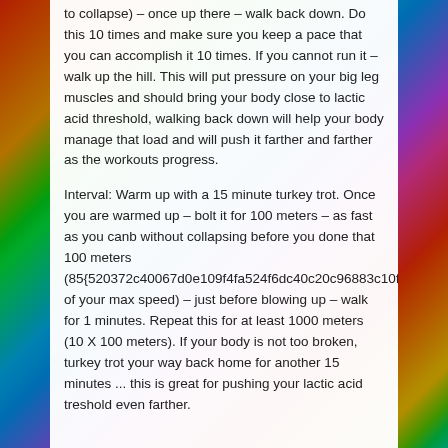to collapse) – once up there – walk back down. Do this 10 times and make sure you keep a pace that you can accomplish it 10 times. If you cannot run it – walk up the hill. This will put pressure on your big leg muscles and should bring your body close to lactic acid threshold, walking back down will help your body manage that load and will push it farther and farther as the workouts progress.
Interval: Warm up with a 15 minute turkey trot. Once you are warmed up – bolt it for 100 meters – as fast as you canb without collapsing before you done that 100 meters (85{520372c40067d0e109f4fa524f6dc40c20c96883c10f1036085f9f1e33426a49} of your max speed) – just before blowing up – walk for 1 minutes. Repeat this for at least 1000 meters (10 X 100 meters). If your body is not too broken, turkey trot your way back home for another 15 minutes ... this is great for pushing your lactic acid treshold even farther.